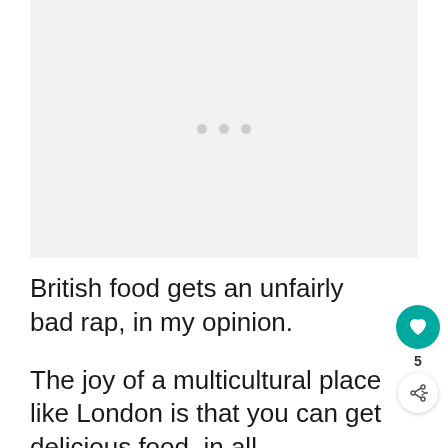[Figure (photo): Loading image placeholder with three gray dots on a light gray background]
British food gets an unfairly bad rap, in my opinion.
The joy of a multicultural place like London is that you can get delicious food, in all corners, at any time...